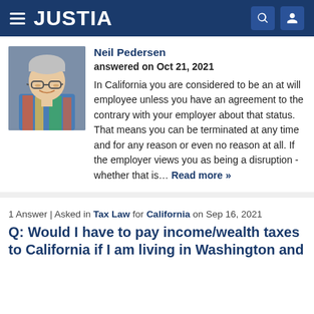JUSTIA
Neil Pedersen
answered on Oct 21, 2021

In California you are considered to be an at will employee unless you have an agreement to the contrary with your employer about that status. That means you can be terminated at any time and for any reason or even no reason at all. If the employer views you as being a disruption - whether that is… Read more »
1 Answer | Asked in Tax Law for California on Sep 16, 2021
Q: Would I have to pay income/wealth taxes to California if I am living in Washington and